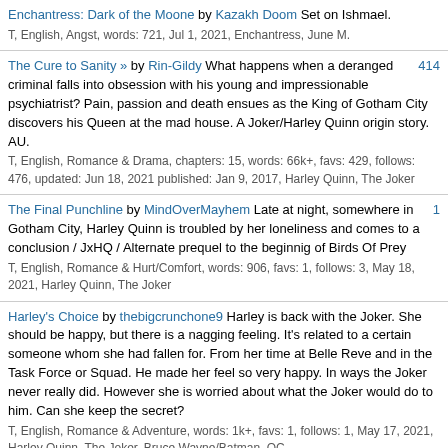Enchantress: Dark of the Moone by Kazakh Doom Set on Ishmael. T, English, Angst, words: 721, Jul 1, 2021, Enchantress, June M.
The Cure to Sanity » by Rin-Gildy What happens when a deranged criminal falls into obsession with his young and impressionable psychiatrist? Pain, passion and death ensues as the King of Gotham City discovers his Queen at the mad house. A Joker/Harley Quinn origin story. AU. T, English, Romance & Drama, chapters: 15, words: 66k+, favs: 429, follows: 476, updated: Jun 18, 2021 published: Jan 9, 2017, Harley Quinn, The Joker
The Final Punchline by MindOverMayhem Late at night, somewhere in Gotham City, Harley Quinn is troubled by her loneliness and comes to a conclusion / JxHQ / Alternate prequel to the beginnig of Birds Of Prey T, English, Romance & Hurt/Comfort, words: 906, favs: 1, follows: 3, May 18, 2021, Harley Quinn, The Joker
Harley's Choice by thebigcrunchone9 Harley is back with the Joker. She should be happy, but there is a nagging feeling. It's related to a certain someone whom she had fallen for. From her time at Belle Reve and in the Task Force or Squad. He made her feel so very happy. In ways the Joker never really did. However she is worried about what the Joker would do to him. Can she keep the secret? T, English, Romance & Adventure, words: 1k+, favs: 1, follows: 1, May 17, 2021, Harley Quinn, The Joker, Bruce Wayne/Batman, OC
Daddy's Lil Monster by apenasnarrando Após a morte de sua m?e no parto e com 4 anos, seu pai a entregou para ado??o. Com sorte,a menina foi adotada ganhando uma familia.Ela tinha muitos a vida mudou após um terrivel acidente,sobrevivendo ela e sua irm? mais velha.Ela se